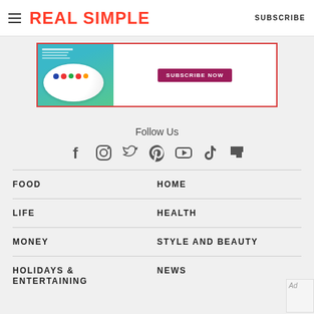REAL SIMPLE | SUBSCRIBE
[Figure (photo): Real Simple magazine subscription ad banner with magazine cover showing a cake with fruit, and a subscribe button on a white background with red border]
Follow Us
[Figure (infographic): Social media icons row: Facebook, Instagram, Twitter, Pinterest, YouTube, TikTok, Flipboard]
FOOD
HOME
LIFE
HEALTH
MONEY
STYLE AND BEAUTY
HOLIDAYS & ENTERTAINING
NEWS